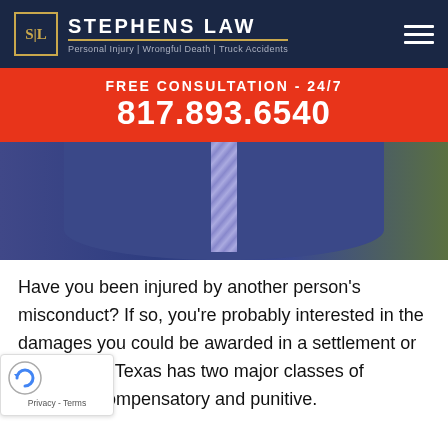STEPHENS LAW — Personal Injury | Wrongful Death | Truck Accidents
FREE CONSULTATION - 24/7
817.893.6540
[Figure (photo): Photo of a person in a navy blue suit with a striped tie, cropped to show the torso only]
Have you been injured by another person's misconduct? If so, you're probably interested in the damages you could be awarded in a settlement or jury verdict. Texas has two major classes of damages compensatory and punitive.